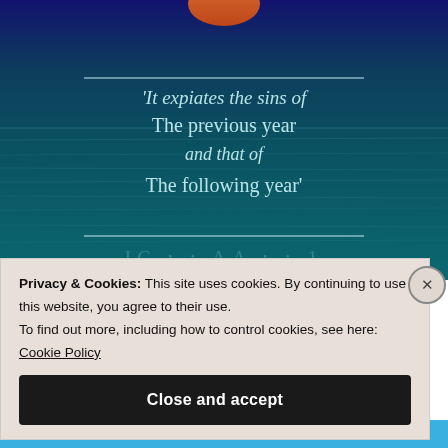[Figure (illustration): Background image showing a dark teal ocean at dusk with a deep blue sky, and a quote in light blue text centered over the water with horizontal decorative lines above and below. Faint Arabic text visible at the bottom of the image.]
'It expiates the sins of The previous year and that of The following year'
Privacy & Cookies: This site uses cookies. By continuing to use this website, you agree to their use. To find out more, including how to control cookies, see here: Cookie Policy
Close and accept